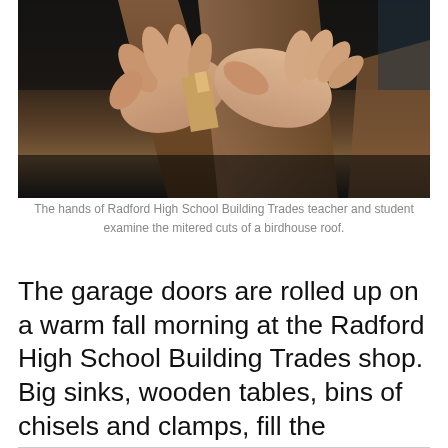[Figure (photo): Close-up photograph of hands (a teacher and student) examining the mitered cuts of a birdhouse roof made of wood.]
The hands of Radford High School Building Trades teacher and student examine the mitered cuts of a birdhouse roof.
The garage doors are rolled up on a warm fall morning at the Radford High School Building Trades shop. Big sinks, wooden tables, bins of chisels and clamps, fill the workshop.